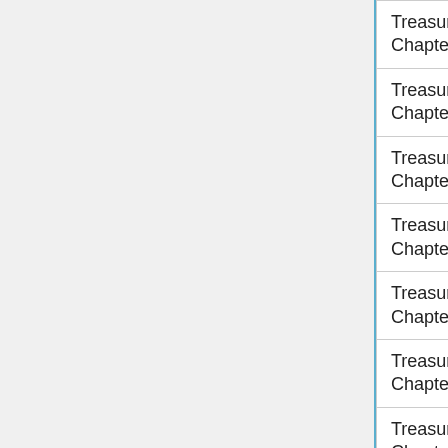| Title | Genre |
| --- | --- |
| Treasure of Big Totem: Chapter 15 | Adventure |
| Treasure of Big Totem: Chapter 14 | Adventure |
| Treasure of Big Totem: Chapter 13 | Adventure |
| Treasure of Big Totem: Chapter 12 | Adventure |
| Treasure of Big Totem: Chapter 11 | Adventure |
| Treasure of Big Totem: Chapter 10 | Adventure |
| Treasure of Big Totem: Chapter 9 | Adventure |
| Bang! The Game | Arcade |
| A Small Car (that is hard to control) | Racing |
| Unbeetable | Arcade |